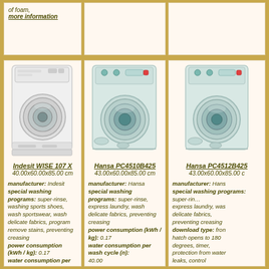of foam, more information
[Figure (photo): Indesit WISE 107 X washing machine, white front-loader]
Indesit WISE 107 X
40.00x60.00x85.00 cm
manufacturer: Indesit special washing programs: super-rinse, washing sports shoes, wash sportswear, wash delicate fabrics, program remove stains, preventing creasing power consumption (kWh / kg): 0.17 water consumption per wash cycle (n): 52.00
[Figure (photo): Hansa PC4510B425 washing machine, light blue/grey front-loader]
Hansa PC4510B425
43.00x60.00x85.00 cm
manufacturer: Hansa special washing programs: super-rinse, express laundry, wash delicate fabrics, preventing creasing power consumption (kWh / kg): 0.17 water consumption per wash cycle (n): 40.00 download type: front class power
[Figure (photo): Hansa PC4512B425 washing machine, light blue/grey front-loader]
Hansa PC4512B425
43.00x60.00x85.00 cm
manufacturer: Hansa special washing programs: super-rinse, express laundry, wash delicate fabrics, preventing creasing download type: front hatch opens to 180 degrees, timer, protection from water leaks, control imbalance, ability to select the spin speed